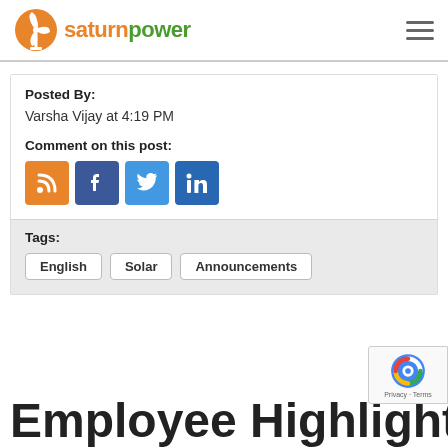saturnpower
Posted By:
Varsha Vijay at 4:19 PM
Comment on this post:
[Figure (infographic): Social sharing icons: RSS (orange), Facebook (dark blue), Twitter (light blue), LinkedIn (blue)]
Tags:
English  Solar  Announcements
Employee Highlight